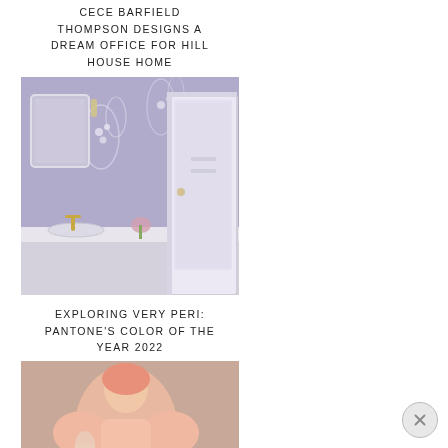CECE BARFIELD THOMPSON DESIGNS A DREAM OFFICE FOR HILL HOUSE HOME
[Figure (photo): Interior photo of a lavender/periwinkle wallpapered bathroom or dressing room with floral motifs, a white vanity, mirror, and a partially open white door revealing a closet]
EXPLORING VERY PERI: PANTONE'S COLOR OF THE YEAR 2022
[Figure (photo): Photo of a person dressed in pink/peach outfit sitting at a vanity or table]